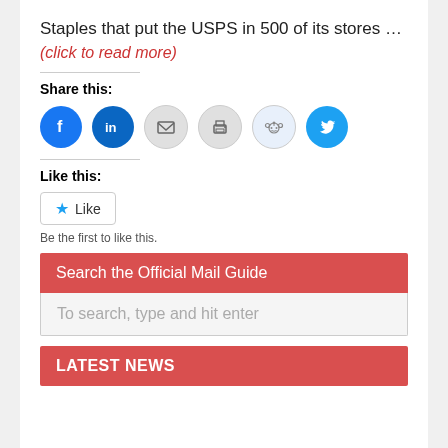Staples that put the USPS in 500 of its stores …
(click to read more)
Share this:
[Figure (illustration): Row of social media sharing icon buttons: Facebook (blue circle), LinkedIn (dark blue circle), Email (gray circle with envelope), Print (gray circle with printer), Reddit (light blue circle with alien logo), Twitter (blue circle with bird logo)]
Like this:
Like
Be the first to like this.
Search the Official Mail Guide
To search, type and hit enter
LATEST NEWS